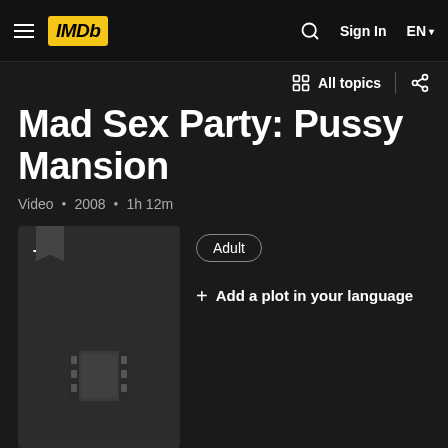IMDb — Sign In  EN
Mad Sex Party: Pussy Mansion
Video · 2008 · 1h 12m
[Figure (illustration): Movie poster placeholder with a + icon and film strip icon on dark background]
Adult
+ Add a plot in your language
Rate